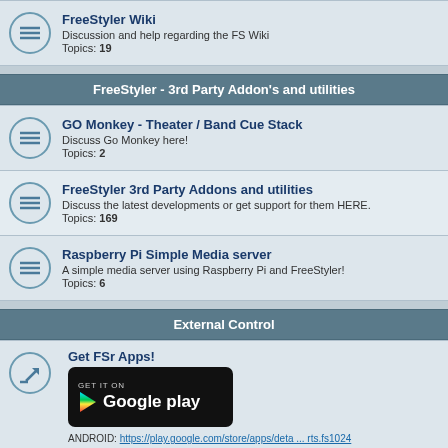FreeStyler Wiki — Discussion and help regarding the FS Wiki — Topics: 19
FreeStyler - 3rd Party Addon's and utilities
GO Monkey - Theater / Band Cue Stack — Discuss Go Monkey here! — Topics: 2
FreeStyler 3rd Party Addons and utilities — Discuss the latest developments or get support for them HERE. — Topics: 169
Raspberry Pi Simple Media server — A simple media server using Raspberry Pi and FreeStyler! — Topics: 6
External Control
Get FSr Apps! — ANDROID: https://play.google.com/store/apps/deta ... rts.fs1024 — iOS : https://itunes.apple.com/us/app/kmx-fre ... &ls=1&mt=8
iOS (iPhone & iPad)